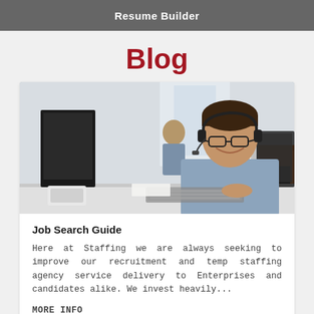Resume Builder
Blog
[Figure (photo): Office call center photo: a smiling man with glasses and a headset sits at a desk with a keyboard and computer monitor; colleagues visible in the background including a man at a computer and two people talking; orange accents on office furniture.]
Job Search Guide
Here at Staffing we are always seeking to improve our recruitment and temp staffing agency service delivery to Enterprises and candidates alike. We invest heavily...
MORE INFO